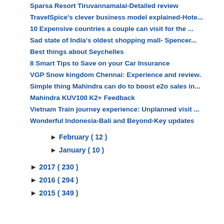Sparsa Resort Tiruvannamalai-Detailed review
TravelSpice's clever business model explained-Hote...
10 Expensive countries a couple can visit for the ...
Sad state of India's oldest shopping mall- Spencer...
Best things about Seychelles
8 Smart Tips to Save on your Car Insurance
VGP Snow kingdom Chennai: Experience and review.
Simple thing Mahindra can do to boost e2o sales in...
Mahindra KUV100 K2+ Feedback
Vietnam Train journey experience: Unplanned visit ...
Wonderful Indonesia-Bali and Beyond-Key updates
► February ( 12 )
► January ( 10 )
► 2017 ( 230 )
► 2016 ( 294 )
► 2015 ( 349 )